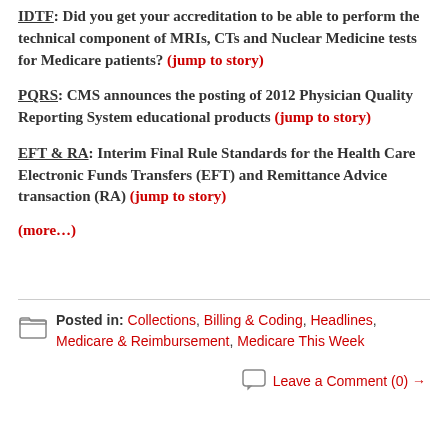IDTF: Did you get your accreditation to be able to perform the technical component of MRIs, CTs and Nuclear Medicine tests for Medicare patients? (jump to story)
PQRS: CMS announces the posting of 2012 Physician Quality Reporting System educational products (jump to story)
EFT & RA: Interim Final Rule Standards for the Health Care Electronic Funds Transfers (EFT) and Remittance Advice transaction (RA) (jump to story)
(more…)
Posted in: Collections, Billing & Coding, Headlines, Medicare & Reimbursement, Medicare This Week
Leave a Comment (0) →